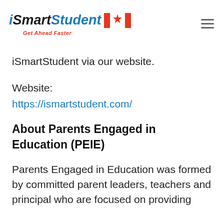iSmartStudent Get Ahead Faster [logo with Canadian flag]
iSmartStudent via our website.
Website:
https://ismartstudent.com/
About Parents Engaged in Education (PEIE)
Parents Engaged in Education was formed by committed parent leaders, teachers and principal who are focused on providing